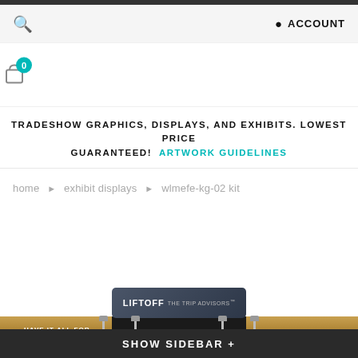ACCOUNT
BEST TRADESHOW DISPLAY
TRADESHOW GRAPHICS, DISPLAYS, AND EXHIBITS. LOWEST PRICE GUARANTEED! ARTWORK GUIDELINES
home ▸ exhibit displays ▸ wlmefe-kg-02 kit
[Figure (photo): Trade show exhibit display with wooden paneling and spotlights, showing movie theater advertisement with LIFTOFF THE TRIP ADVISORS branding]
SHOW SIDEBAR +